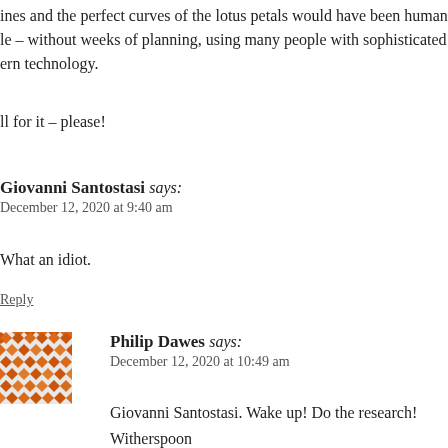ines and the perfect curves of the lotus petals would have been human – without weeks of planning, using many people with sophisticated ern technology.
ll for it – please!
Giovanni Santostasi says: December 12, 2020 at 9:40 am
What an idiot.
Reply
Philip Dawes says: December 12, 2020 at 10:49 am
Giovanni Santostasi. Wake up! Do the research! Witherspoon make it alone. He had the help of many friends and machines. "Everyone was surprised when an artist from Iowa and his fri stepped up to say it was them and that they'd used sticks wi